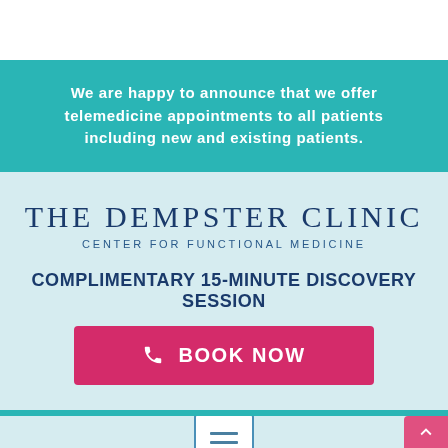We are happy to announce that we offer telemedicine appointments to all patients including new and existing patients.
THE DEMPSTER CLINIC
CENTER FOR FUNCTIONAL MEDICINE
COMPLIMENTARY 15-MINUTE DISCOVERY SESSION
BOOK NOW
[Figure (other): Menu/hamburger icon inside a square border box]